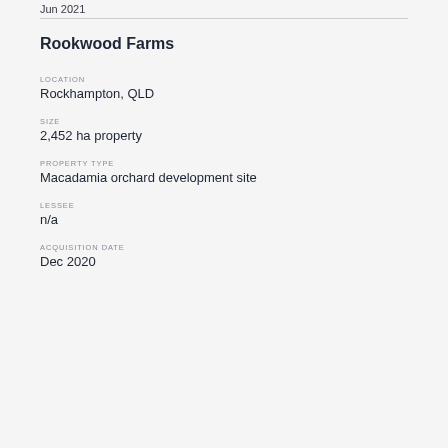Jun 2021
Rookwood Farms
LOCATION
Rockhampton, QLD
SIZE
2,452 ha property
PROPERTY TYPE
Macadamia orchard development site
LESSEE
n/a
ACQUISITION DATE
Dec 2020